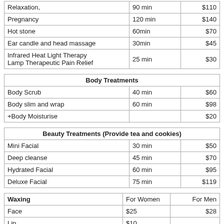|  |  |  |
| --- | --- | --- |
| Relaxation, | 90 min | $110 |
| Pregnancy | 120 min | $140 |
| Hot stone | 60min | $70 |
| Ear candle and head massage | 30min | $45 |
| Infrared Heat Light Therapy
Lamp Therapeutic Pain Relief | 25min | $30 |
| Body Treatments |  |  |
| --- | --- | --- |
| Body Scrub | 40 min | $60 |
| Body slim and wrap | 60 min | $98 |
| +Body Moisturise |  | $20 |
| Beauty Treatments (Provide tea and cookies) |  |  |
| --- | --- | --- |
| Mini Facial | 30 min | $50 |
| Deep cleanse | 45 min | $70 |
| Hydrated Facial | 60 min | $95 |
| Deluxe Facial | 75 min | $119 |
| Waxing | For Women | For Men |
| --- | --- | --- |
| Face | $25 | $28 |
| Lip | $10 |  |